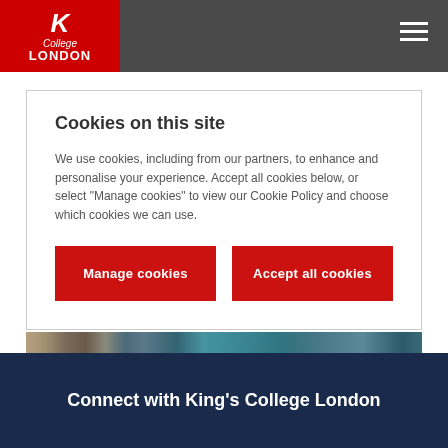King's College London
Cookies on this site
We use cookies, including from our partners, to enhance and personalise your experience. Accept all cookies below, or select "Manage cookies" to view our Cookie Policy and choose which cookies we can use.
[Figure (screenshot): Two red buttons: 'Manage cookies' and 'Accept all cookies']
[Figure (photo): Graduation ceremony photo showing students in academic gowns with teal/cyan coloring]
Connect with King's College London